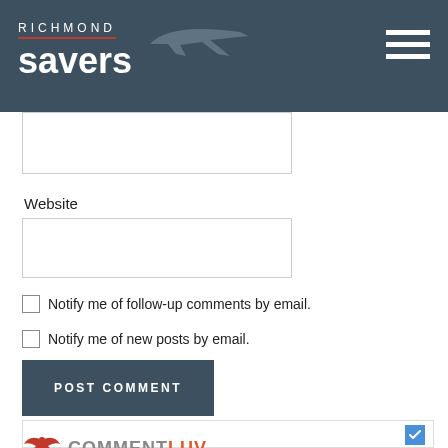[Figure (logo): Richmond Savers logo with airplane graphic on dark teal/navy background]
[Figure (other): Hamburger menu icon (three horizontal white lines) on dark background]
[Figure (other): Truncated text input box (top portion visible)]
Website
[Figure (other): Website text input box]
Notify me of follow-up comments by email.
Notify me of new posts by email.
[Figure (other): POST COMMENT button, dark teal/navy color]
[Figure (other): CommentLuv plugin bar with checked blue checkbox and red/orange eagle logo with COMMENTLUV text]